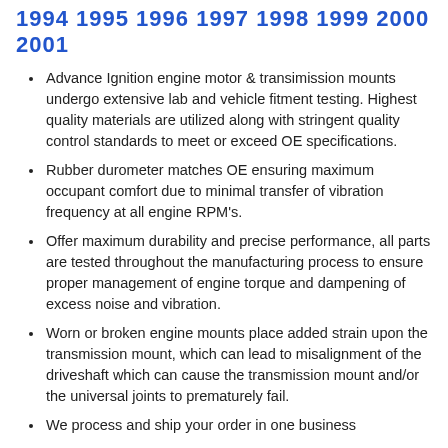1994 1995 1996 1997 1998 1999 2000 2001
Advance Ignition engine motor & transimission mounts undergo extensive lab and vehicle fitment testing. Highest quality materials are utilized along with stringent quality control standards to meet or exceed OE specifications.
Rubber durometer matches OE ensuring maximum occupant comfort due to minimal transfer of vibration frequency at all engine RPM's.
Offer maximum durability and precise performance, all parts are tested throughout the manufacturing process to ensure proper management of engine torque and dampening of excess noise and vibration.
Worn or broken engine mounts place added strain upon the transmission mount, which can lead to misalignment of the driveshaft which can cause the transmission mount and/or the universal joints to prematurely fail.
We process and ship your order in one business